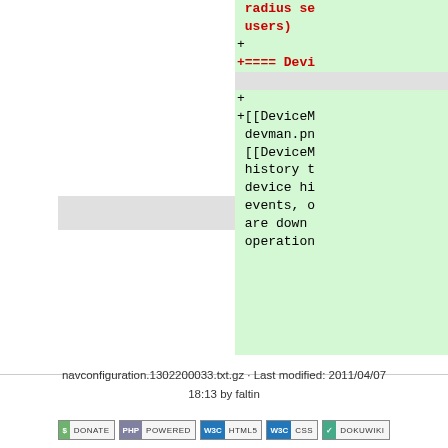[Figure (screenshot): Diff view of wiki page content showing added lines with green background. Right column shows lines starting with + including red bold text 'radius se', 'users)', '+====  Devi', and green text with '[[DeviceM', 'devman.pn', '[[DeviceM', 'history t', 'device hi', 'events, o', 'are down', 'opertion'. Left side shows a grey bar placeholder.]
navconfiguration.1302200033.txt.gz · Last modified: 2011/04/07 18:13 by faltin
[Figure (infographic): Row of five badges: DONATE, PHP POWERED, WSC HTML5, WSC CSS, DOKUWIKI]